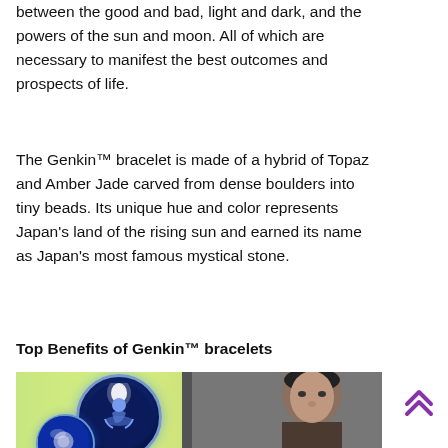between the good and bad, light and dark, and the powers of the sun and moon. All of which are necessary to manifest the best outcomes and prospects of life.
The Genkin™ bracelet is made of a hybrid of Topaz and Amber Jade carved from dense boulders into tiny beads. Its unique hue and color represents Japan's land of the rising sun and earned its name as Japan's most famous mystical stone.
Top Benefits of Genkin™ bracelets
[Figure (photo): Composite image showing a man's face on the right side against a dark industrial background, overlaid with a glowing meditation figure in a blue circle and a blue yin-yang style sphere in the lower left, on a light green background.]